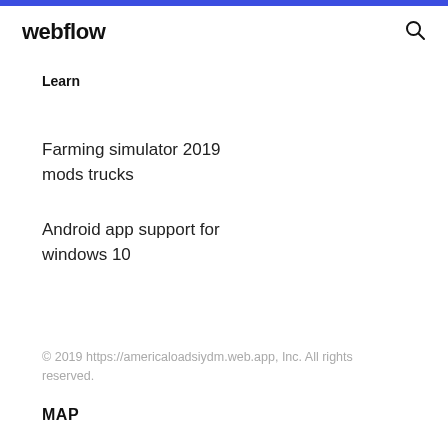webflow
Learn
Farming simulator 2019 mods trucks
Android app support for windows 10
© 2019 https://americaloadsiydm.web.app, Inc. All rights reserved.
MAP